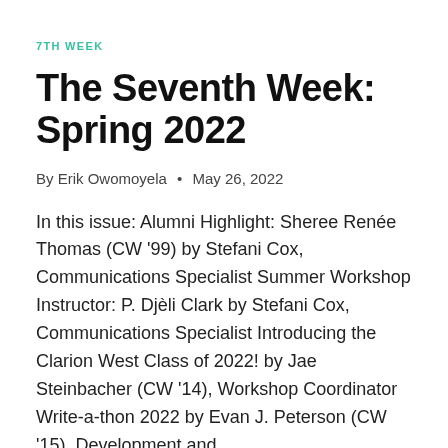7TH WEEK
The Seventh Week: Spring 2022
By Erik Owomoyela • May 26, 2022
In this issue: Alumni Highlight: Sheree Renée Thomas (CW '99) by Stefani Cox, Communications Specialist Summer Workshop Instructor: P. Djèli Clark by Stefani Cox, Communications Specialist Introducing the Clarion West Class of 2022! by Jae Steinbacher (CW '14), Workshop Coordinator Write-a-thon 2022 by Evan J. Peterson (CW '15), Development and